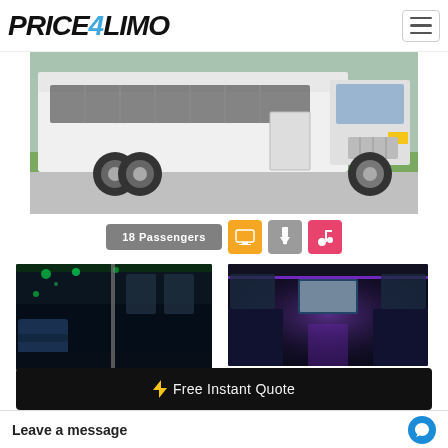[Figure (logo): Price4Limo logo in bold italic black text with blue '4']
[Figure (photo): White party bus / shuttle bus exterior, front three-quarter view, parked on pavement with grass/trees in background]
18 Passengers
[Figure (illustration): Orange badge with TV/monitor icon]
[Figure (illustration): Gray badge with power plug icon]
[Figure (illustration): Pink badge with music note icon]
[Figure (photo): Interior of party bus with blue LED lighting, dark seating, dance pole]
[Figure (photo): Interior of party bus with purple LED lighting, center aisle, TV screen visible]
⚡ Free Instant Quote
Leave a message